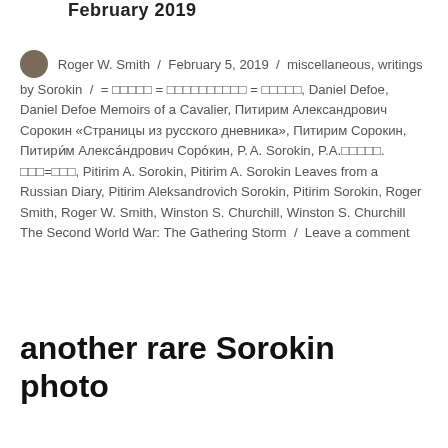February 2019
Roger W. Smith / February 5, 2019 / miscellaneous, writings by Sorokin / = □□□□□ = □□□□□□□□□□ = □□□□□, Daniel Defoe, Daniel Defoe Memoirs of a Cavalier, Питирим Александрович Сорокин «Страницы из русского дневника», Питирим Сорокин, Питири́м Алекса́ндрович Соро́кин, P. A. Sorokin, P.A.□□□□□. □□□=□□□, Pitirim A. Sorokin, Pitirim A. Sorokin Leaves from a Russian Diary, Pitirim Aleksandrovich Sorokin, Pitirim Sorokin, Roger Smith, Roger W. Smith, Winston S. Churchill, Winston S. Churchill The Second World War: The Gathering Storm / Leave a comment
another rare Sorokin photo